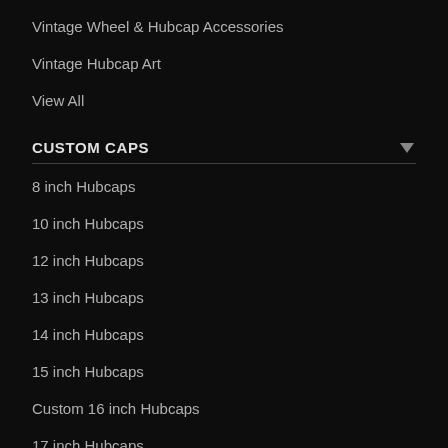Vintage Wheel & Hubcap Accessories
Vintage Hubcap Art
View All
CUSTOM CAPS
8 inch Hubcaps
10 inch Hubcaps
12 inch Hubcaps
13 inch Hubcaps
14 inch Hubcaps
15 inch Hubcaps
Custom 16 inch Hubcaps
17 inch Hubcaps
18 inch Hubcaps
View All